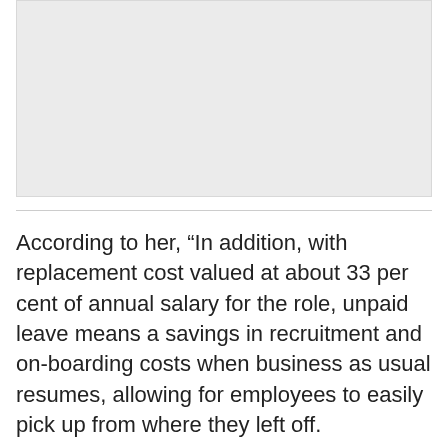[Figure (other): Light gray rectangular image placeholder area]
According to her, “In addition, with replacement cost valued at about 33 per cent of annual salary for the role, unpaid leave means a savings in recruitment and on-boarding costs when business as usual resumes, allowing for employees to easily pick up from where they left off.